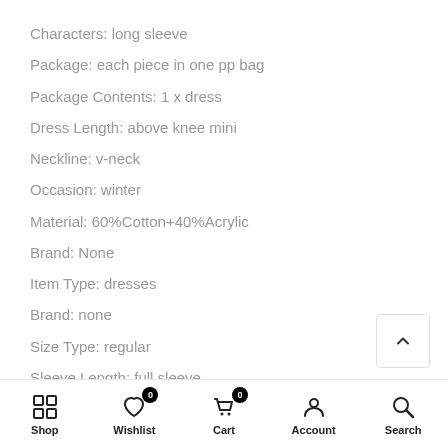Characters: long sleeve
Package: each piece in one pp bag
Package Contents: 1 x dress
Dress Length: above knee mini
Neckline: v-neck
Occasion: winter
Material: 60%Cotton+40%Acrylic
Brand: None
Item Type: dresses
Brand: none
Size Type: regular
Sleeve Length: full sleeve
Pattern: color block
Style: sexy
Color: Multicolor
Shop  Wishlist 0  Cart 0  Account  Search